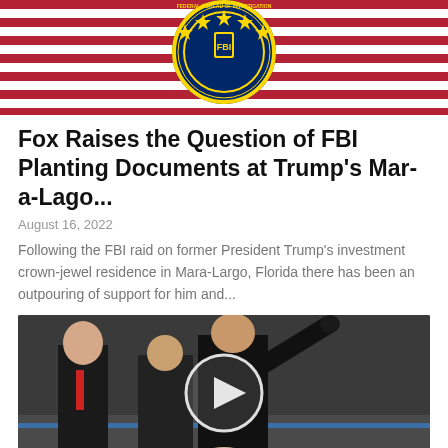[Figure (photo): FBI seal logo on American flag background]
Fox Raises the Question of FBI Planting Documents at Trump's Mar-a-Lago...
August 16, 2022
Following the FBI raid on former President Trump's investment crown-jewel residence in Mara-Largo, Florida there has been an outpouring of support for him and...
[Figure (photo): Men in suits outdoors, one waving, with a video play button overlay]